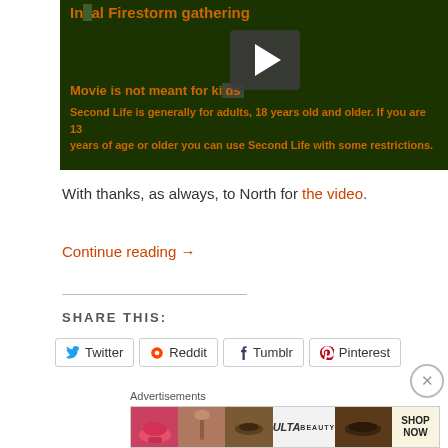[Figure (screenshot): Video thumbnail with dark green background showing a video player with title 'Infernal Firestorm gathering', subtitle 'Movie is not meant for kids', play button overlay, and orange text about Second Life age restrictions]
With thanks, as always, to North for the video.
Continue reading →
SHARE THIS:
Twitter  Reddit  Tumblr  Pinterest
Advertisements
[Figure (screenshot): Ulta Beauty advertisement banner with makeup images]